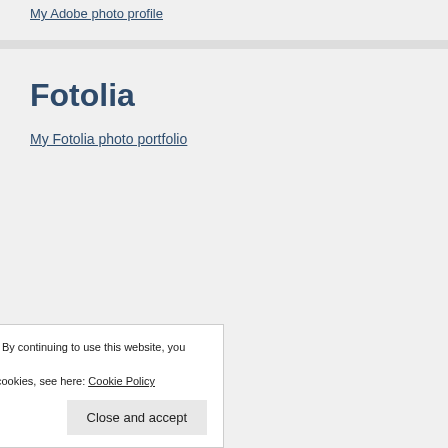My Adobe photo profile
Fotolia
My Fotolia photo portfolio
Privacy & Cookies: This site uses cookies. By continuing to use this website, you agree to their use.
To find out more, including how to control cookies, see here: Cookie Policy
Close and accept